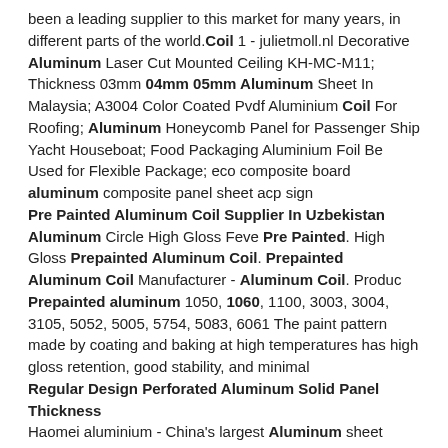been a leading supplier to this market for many years, in different parts of the world. Coil 1 - julietmoll.nl Decorative Aluminum Laser Cut Mounted Ceiling KH-MC-M11; Thickness 03mm 04mm 05mm Aluminum Sheet In Malaysia; A3004 Color Coated Pvdf Aluminium Coil For Roofing; Aluminum Honeycomb Panel for Passenger Ship Yacht Houseboat; Food Packaging Aluminium Foil Be Used for Flexible Package; eco composite board aluminum composite panel sheet acp sign Pre Painted Aluminum Coil Supplier In Uzbekistan Aluminum Circle High Gloss Feve Pre Painted. High Gloss Prepainted Aluminum Coil. Prepainted Aluminum Coil Manufacturer - Aluminum Coil. Produc Prepainted aluminum 1050, 1060, 1100, 3003, 3004, 3105, 5052, 5005, 5754, 5083, 6061 The paint pattern made by coating and baking at high temperatures has high gloss retention, good stability, and minimal Regular Design Perforated Aluminum Solid Panel Thickness Haomei aluminium - China's largest Aluminum sheet manufacturers and suppliers, the production of 1-8 series aluminum alloy sheets, Regular Design Perforated Aluminum Solid Panel Thickness 3mm for Building Facade, aluminum foil aluminum coil aluminum sheet high gloss baked and baked...